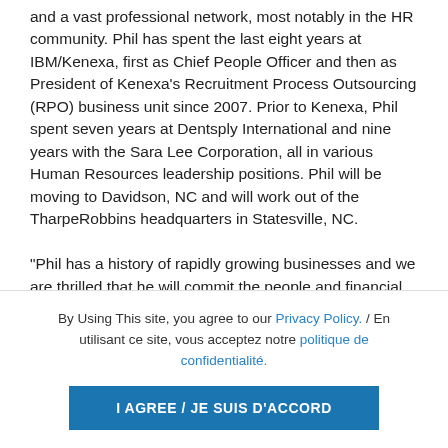and a vast professional network, most notably in the HR community. Phil has spent the last eight years at IBM/Kenexa, first as Chief People Officer and then as President of Kenexa's Recruitment Process Outsourcing (RPO) business unit since 2007. Prior to Kenexa, Phil spent seven years at Dentsply International and nine years with the Sara Lee Corporation, all in various Human Resources leadership positions. Phil will be moving to Davidson, NC and will work out of the TharpeRobbins headquarters in Statesville, NC.
“Phil has a history of rapidly growing businesses and we are thrilled that he will commit the people and financial
By Using This site, you agree to our Privacy Policy. / En utilisant ce site, vous acceptez notre politique de confidentialité.
I AGREE / JE SUIS D'ACCORD